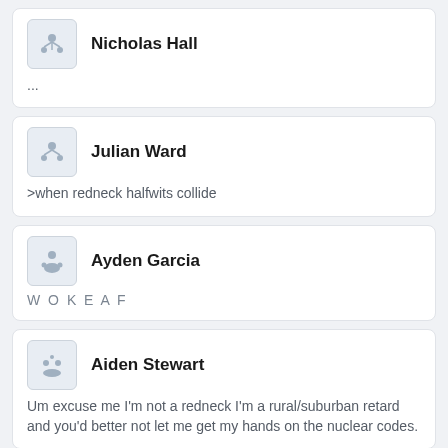Nicholas Hall
...
Julian Ward
>when redneck halfwits collide
Ayden Garcia
W O K E A F
Aiden Stewart
Um excuse me I'm not a redneck I'm a rural/suburban retard and you'd better not let me get my hands on the nuclear codes.